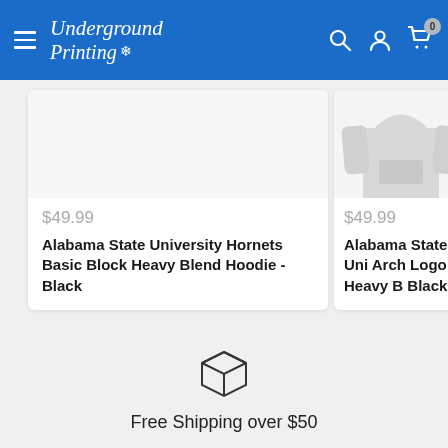Underground Printing — navigation header with hamburger menu, search, account, and cart icons
[Figure (photo): Product card showing Alabama State University Hornets Basic Block Heavy Blend Hoodie - Black with price $49.99]
$49.99
Alabama State University Hornets Basic Block Heavy Blend Hoodie - Black
[Figure (photo): Partial product card showing Alabama State University Arch Logo Heavy Blend Hoodie - Black with price $49.99 and a gray hoodie image]
$49.99
Alabama State Uni... Arch Logo Heavy B... Black
[Figure (illustration): Box/shipping package icon]
Free Shipping over $50